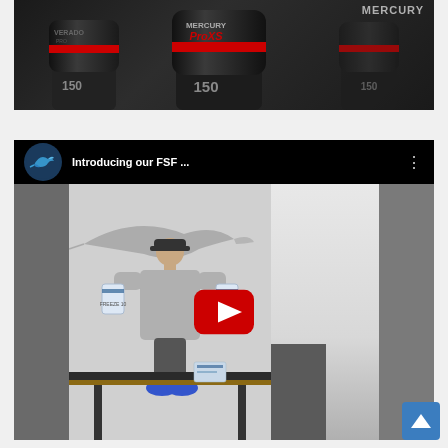[Figure (photo): Mercury Pro XS outboard motors (model 150), black with red stripe and Mercury branding, multiple engines shown against dark background]
[Figure (screenshot): YouTube video embed titled 'Introducing our FSF ...' showing a man in a gray shirt and blue sneakers standing behind a black table, holding packages, with a marlin logo channel icon. A large red YouTube play button is centered on the video.]